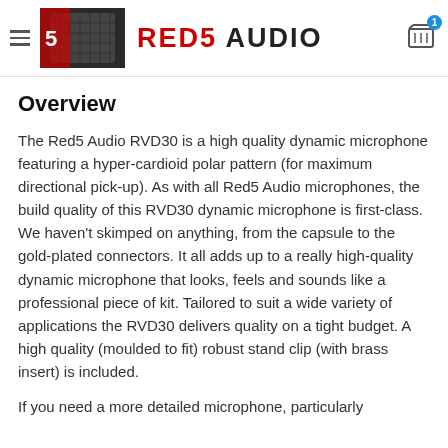RED5 AUDIO
Overview
The Red5 Audio RVD30 is a high quality dynamic microphone featuring a hyper-cardioid polar pattern (for maximum directional pick-up). As with all Red5 Audio microphones, the build quality of this RVD30 dynamic microphone is first-class. We haven't skimped on anything, from the capsule to the gold-plated connectors. It all adds up to a really high-quality dynamic microphone that looks, feels and sounds like a professional piece of kit. Tailored to suit a wide variety of applications the RVD30 delivers quality on a tight budget. A high quality (moulded to fit) robust stand clip (with brass insert) is included.
If you need a more detailed microphone, particularly